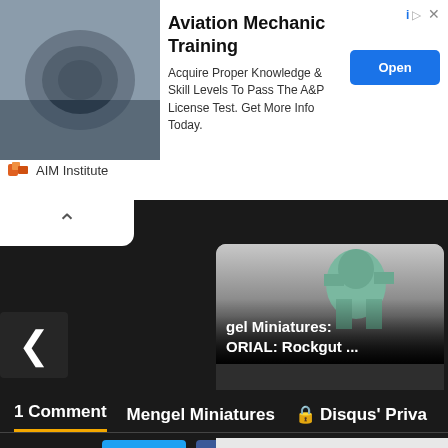[Figure (screenshot): Ad banner for Aviation Mechanic Training by AIM Institute, with airplane engine photo, Open button, and ad info icon]
Aviation Mechanic Training
Acquire Proper Knowledge & Skill Levels To Pass The A&P License Test. Get More Info Today.
AIM Institute
[Figure (screenshot): Dark carousel section with two article cards. Left card: Mengel Miniatures: TUTORIAL: Rockgut ... — a month ago • 1 comment — With the release of the new Contrast colors, I figured it would be a good idea to ... Right card (partially visible): Mengel Miniatures REVIEW: General's — a year ago • 1 comment — A new year means a ne... General's Handbook, b... this year we see some]
Mengel Miniatures: ORIAL: Rockgut ...
a month ago • 1 comment
With the release of the new Contrast colors, I figured it would be a good idea to …
Mengel Miniatures REVIEW: General's
a year ago • 1 comment
A new year means a ne... General's Handbook, b... this year we see some
1 Comment
Mengel Miniatures
Disqus' Priva
Favorite
Tweet
Share